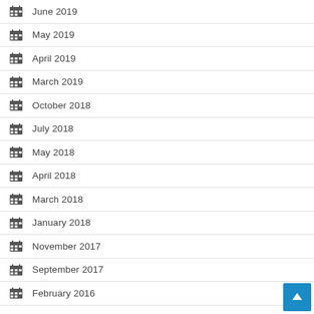June 2019
May 2019
April 2019
March 2019
October 2018
July 2018
May 2018
April 2018
March 2018
January 2018
November 2017
September 2017
February 2016